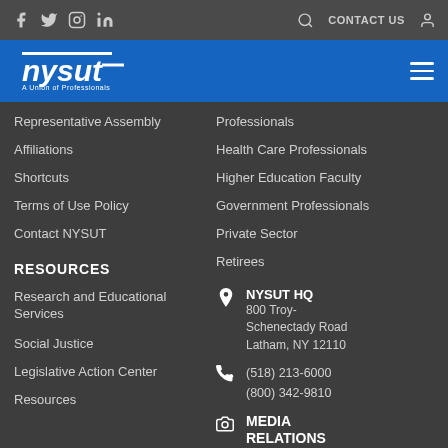NYSUT – New York State United Teachers
Representative Assembly
Affiliations
Shortcuts
Terms of Use Policy
Contact NYSUT
Professionals
Health Care Professionals
Higher Education Faculty
Government Professionals
Private Sector
Retirees
RESOURCES
Research and Educational Services
Social Justice
Legislative Action Center
Resources
NYSUT HQ
800 Troy-Schenectady Road
Latham, NY 12110
(518) 213-6000
(800) 342-9810
MEDIA RELATIONS